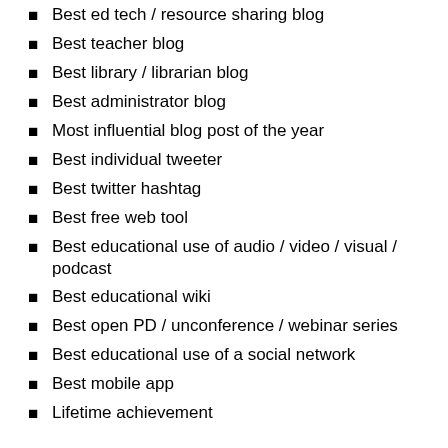Best ed tech / resource sharing blog
Best teacher blog
Best library / librarian blog
Best administrator blog
Most influential blog post of the year
Best individual tweeter
Best twitter hashtag
Best free web tool
Best educational use of audio / video / visual / podcast
Best educational wiki
Best open PD / unconference / webinar series
Best educational use of a social network
Best mobile app
Lifetime achievement